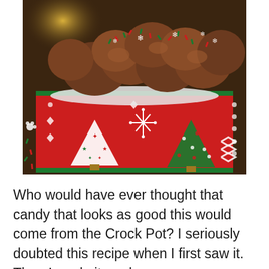[Figure (photo): A red Christmas tin box filled with chocolate candy clusters topped with red, green and white snowflake sprinkles. The tin has white Christmas tree decorations on it. Scattered red and green sprinkles are visible on the dark wooden surface around the tin, with bokeh lights in the background.]
Who would have ever thought that candy that looks as good this would come from the Crock Pot? I seriously doubted this recipe when I first saw it. Then I made it, and